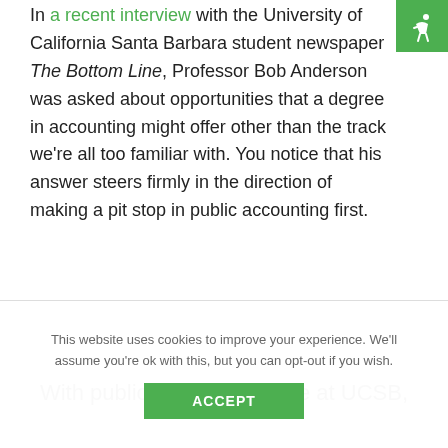[Figure (logo): Green square icon with a white accessibility/person figure in top-right corner]
In a recent interview with the University of California Santa Barbara student newspaper The Bottom Line, Professor Bob Anderson was asked about opportunities that a degree in accounting might offer other than the track we're all too familiar with. You notice that his answer steers firmly in the direction of making a pit stop in public accounting first.
With public accounting here at UCSB,
This website uses cookies to improve your experience. We'll assume you're ok with this, but you can opt-out if you wish.